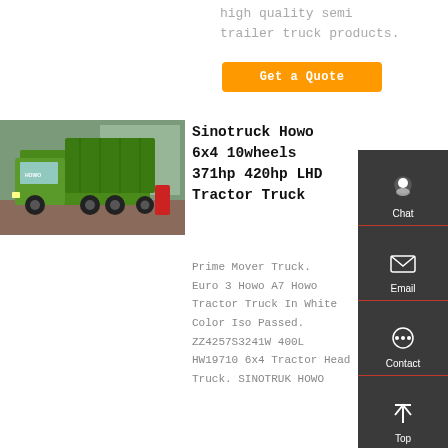high quality semi trailer truck products.
Get a Quote
[Figure (photo): Green Sinotruck Howo 6x4 dump/tractor truck parked outside a building]
Sinotruck Howo 6x4 10wheels 371hp 420hp LHD Tractor Truck
Prime Mover Truck. Euro 3 Howo A7 Howo Tractor Truck In White Color Iso Passed. ZZ4257S3241W 400L HW19710 6x4 Tractor Head Truck. SINOTRUK HOWO